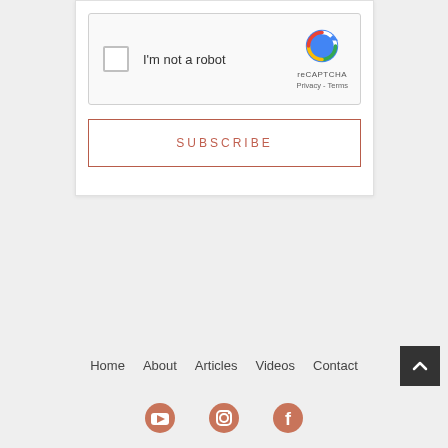[Figure (screenshot): reCAPTCHA widget with checkbox labeled 'I'm not a robot' and reCAPTCHA logo/branding on the right showing Privacy and Terms links]
SUBSCRIBE
Home   About   Articles   Videos   Contact
[Figure (other): Social media icons: YouTube, Instagram, Facebook]
[Figure (other): Back to top button (dark square with upward chevron)]